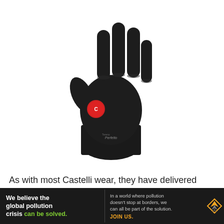[Figure (photo): A black Castelli Perfetto cycling glove shown on a white background, fingers spread upward. The glove features a red Castelli logo badge on the back of the hand and white 'Perfetto' text near the wrist.]
As with most Castelli wear, they have delivered
[Figure (other): Pure Earth advertisement banner with dark background. Left section: 'We believe the global pollution crisis can be solved.' (with 'can be solved' in green). Middle section: 'In a world where pollution doesn't stop at borders, we can all be part of the solution. JOIN US.' Right section: Pure Earth logo with diamond/arrow icon and 'PURE EARTH' text in white.]